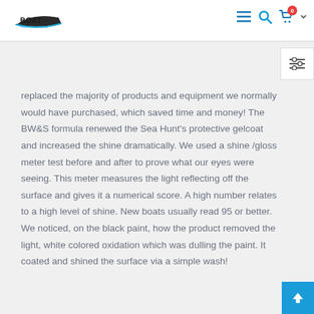Boat [logo] — navigation header with menu, search, cart icons
replaced the majority of products and equipment we normally would have purchased, which saved time and money! The BW&S formula renewed the Sea Hunt's protective gelcoat and increased the shine dramatically. We used a shine /gloss meter test before and after to prove what our eyes were seeing. This meter measures the light reflecting off the surface and gives it a numerical score. A high number relates to a high level of shine. New boats usually read 95 or better. We noticed, on the black paint, how the product removed the light, white colored oxidation which was dulling the paint. It coated and shined the surface via a simple wash!